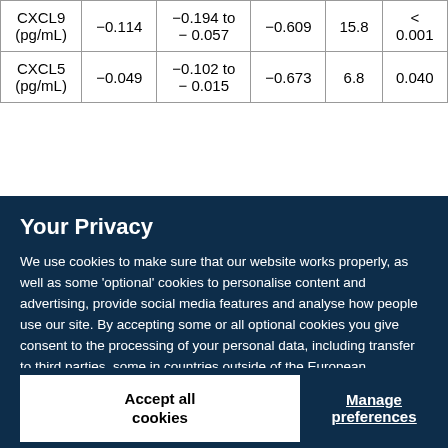| CXCL9
(pg/mL) | −0.114 | −0.194 to
− 0.057 | −0.609 | 15.8 | < 0.001 |
| CXCL5
(pg/mL) | −0.049 | −0.102 to
− 0.015 | −0.673 | 6.8 | 0.040 |
Your Privacy
We use cookies to make sure that our website works properly, as well as some 'optional' cookies to personalise content and advertising, provide social media features and analyse how people use our site. By accepting some or all optional cookies you give consent to the processing of your personal data, including transfer to third parties, some in countries outside of the European Economic Area that do not offer the same data protection standards as the country where you live. You can decide which optional cookies to accept by clicking on 'Manage Settings', where you can also find more information about how your personal data is processed. Further information can be found in our privacy policy.
Accept all cookies
Manage preferences